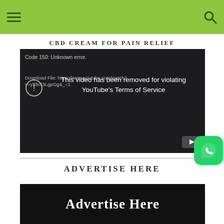CBD CREAM FOR PAIN RELIEF
[Figure (screenshot): YouTube embedded video player showing error: 'Code 150: Unknown error.' with message 'This video has been removed for violating YouTube's Terms of Service'. Download file URL shown: https://www.youtube.com/watch?v=ySlsS3LgpGg&_=1]
ADVERTISE HERE
[Figure (photo): Black advertisement banner with white bold text 'Advertise Here']
[Figure (logo): WhatsApp floating button icon (green rounded square with white phone/chat icon)]